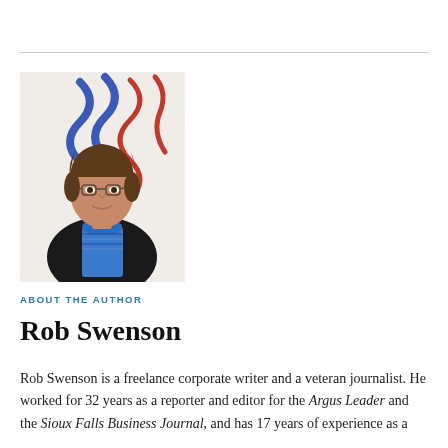[Figure (photo): Headshot of Rob Swenson, a middle-aged man with glasses and brown hair, wearing a black blazer and blue striped shirt, standing in front of a colorful abstract background with red and blue curved shapes.]
ABOUT THE AUTHOR
Rob Swenson
Rob Swenson is a freelance corporate writer and a veteran journalist. He worked for 32 years as a reporter and editor for the Argus Leader and the Sioux Falls Business Journal, and has 17 years of experience as a